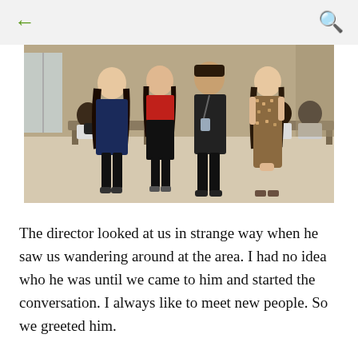← (back) | 🔍 (search)
[Figure (photo): Three people standing and posing for a photo in an indoor hall. On the left is a young woman with long dark hair wearing a navy blazer and black pants. In the center is a young woman in a red and black outfit. Next to her is a middle-aged man wearing a dark shirt with a lanyard/ID badge. On the right is a young woman in a patterned brown dress. In the background, several other people are seated on benches along the walls.]
The director looked at us in strange way when he saw us wandering around at the area. I had no idea who he was until we came to him and started the conversation. I always like to meet new people. So we greeted him.